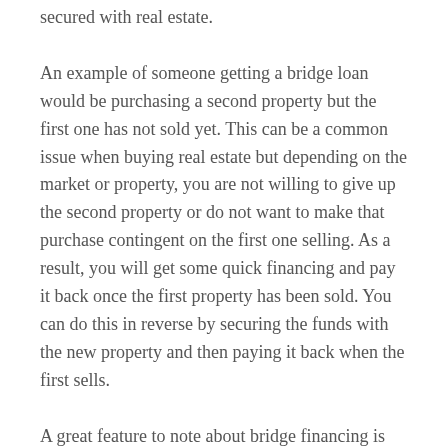secured with real estate.
An example of someone getting a bridge loan would be purchasing a second property but the first one has not sold yet. This can be a common issue when buying real estate but depending on the market or property, you are not willing to give up the second property or do not want to make that purchase contingent on the first one selling. As a result, you will get some quick financing and pay it back once the first property has been sold. You can do this in reverse by securing the funds with the new property and then paying it back when the first sells.
A great feature to note about bridge financing is that it is not just for real estate investing but it can be used by home owners as well. This is a great option to have when you do not want to make your